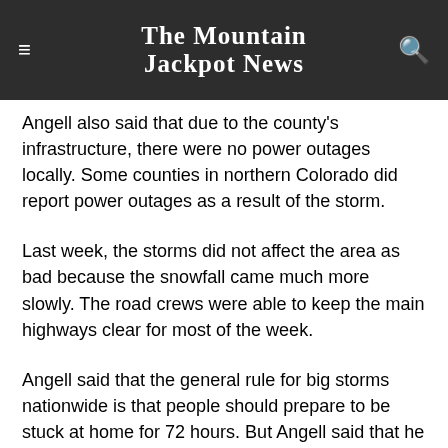The Mountain Jackpot News
Angell also said that due to the county's infrastructure, there were no power outages locally. Some counties in northern Colorado did report power outages as a result of the storm.
Last week, the storms did not affect the area as bad because the snowfall came much more slowly. The road crews were able to keep the main highways clear for most of the week.
Angell said that the general rule for big storms nationwide is that people should prepare to be stuck at home for 72 hours. But Angell said that he tells people in rural America, they should be prepared for 96 hours.
Recent Snows May Ease Drought Conditions: Threat Still Remains